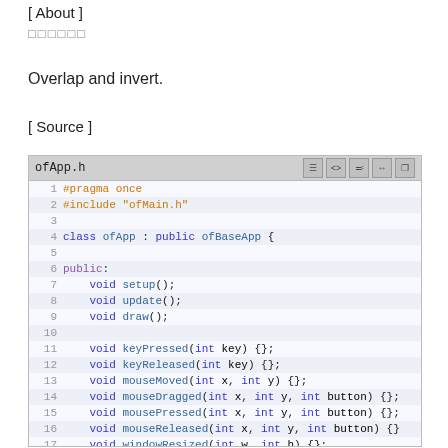[ About ]
□□□□□□
Overlap and invert.
[ Source ]
[Figure (screenshot): Code editor showing ofApp.h source file with C++ class definition for ofApp extending ofBaseApp, including method declarations for setup, update, draw, keyboard, mouse, window, drag, and message events.]